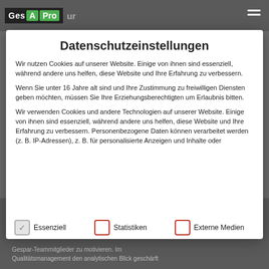[Figure (screenshot): Website background with logo bar showing 'Ges A Pro' branding and hamburger menu icon, with blurred gray content visible behind a cookie consent modal]
Datenschutzeinstellungen
Wir nutzen Cookies auf unserer Website. Einige von ihnen sind essenziell, während andere uns helfen, diese Website und Ihre Erfahrung zu verbessern.
Wenn Sie unter 16 Jahre alt sind und Ihre Zustimmung zu freiwilligen Diensten geben möchten, müssen Sie Ihre Erziehungsberechtigten um Erlaubnis bitten.
Wir verwenden Cookies und andere Technologien auf unserer Website. Einige von ihnen sind essenziell, während andere uns helfen, diese Website und Ihre Erfahrung zu verbessern. Personenbezogene Daten können verarbeitet werden (z. B. IP-Adressen), z. B. für personalisierte Anzeigen und Inhalte oder
Essenziell
Statistiken
Externe Medien